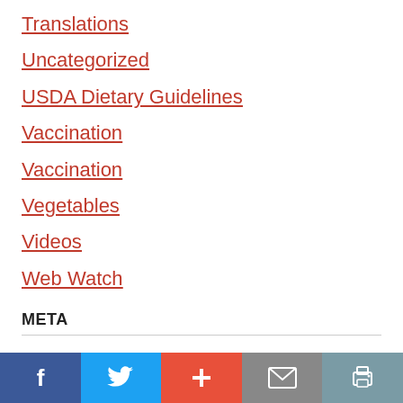Translations
Uncategorized
USDA Dietary Guidelines
Vaccination
Vaccination
Vegetables
Videos
Web Watch
META